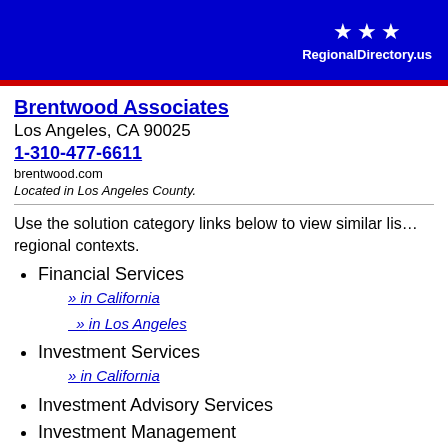RegionalDirectory.us
Brentwood Associates
Los Angeles, CA 90025
1-310-477-6611
brentwood.com
Located in Los Angeles County.
Use the solution category links below to view similar listings in regional contexts.
Financial Services
» in California
» in Los Angeles
Investment Services
» in California
Investment Advisory Services
Investment Management